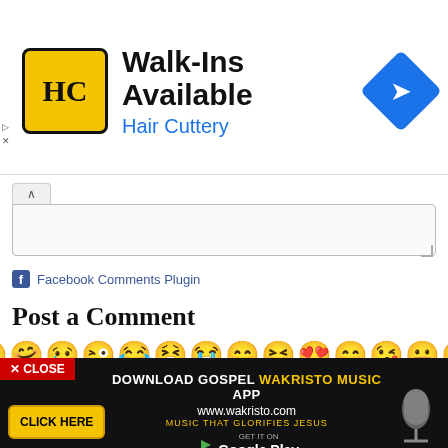[Figure (screenshot): Hair Cuttery advertisement banner with yellow HC logo, Walk-Ins Available heading, and blue navigation icon]
[Figure (screenshot): Collapsible text area input with caret up tab]
Facebook Comments Plugin
Post a Comment
[Figure (infographic): Grid of emoji emoticons for comment posting, two rows of about 13 emojis each plus 3 small emojis below]
Click to see the code!
To insert emoticon you must added at least one space before the code.
To leave a comment, click the button below to sign in with Google.
[Figure (screenshot): Bottom banner: close button, DOWNLOAD GOSPEL WAKRISTO MUSIC APP ad with Google Play and microphone graphic]